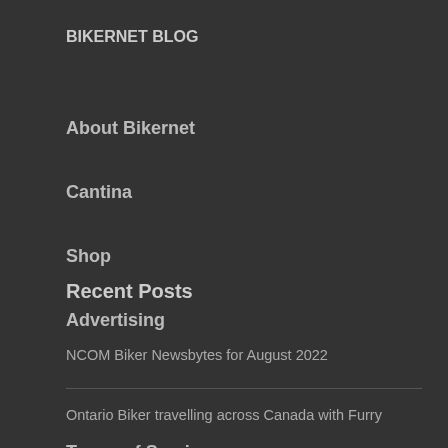BIKERNET BLOG
About Bikernet
Cantina
Shop
Advertising
Terms of Service
Recent Posts
NCOM Biker Newsbytes for August 2022
Ontario Biker travelling across Canada with Furry